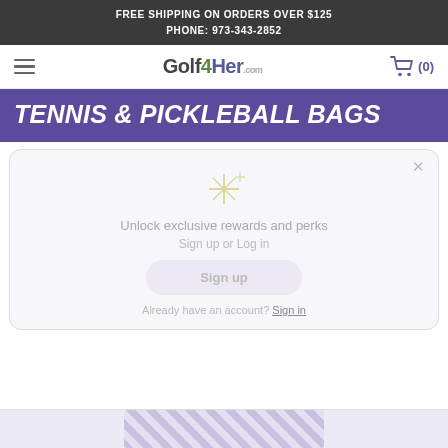FREE SHIPPING ON ORDERS OVER $125
PHONE: 973-343-2852
[Figure (logo): Golf4Her.com logo with hamburger menu and shopping cart icon showing (0) items]
TENNIS & PICKLEBALL BAGS
Unlock exclusive rewards and perks
Sign up or Log in
Sign up
Already have an account? Sign in
[Figure (photo): Product image at bottom, partially visible, showing a bag with geometric pattern]